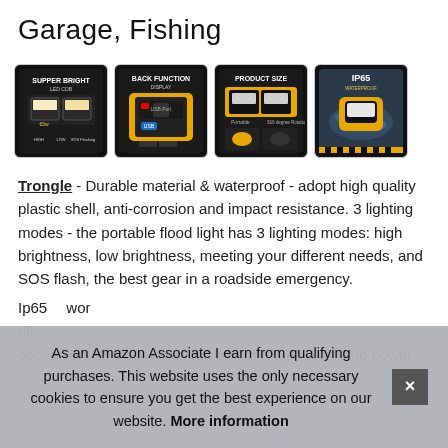Garage, Fishing
[Figure (photo): Four product images showing an LED work light: (1) SUPPER BRIGHT LED COB label showing light modes, (2) BACK FUNCTION DISPLAY showing USB port and charging display, (3) PRODUCT SIZE showing dimensions and portability, (4) IP65 WATERPROOF showing the light in wet conditions.]
Trongle - Durable material & waterproof - adopt high quality plastic shell, anti-corrosion and impact resistance. 3 lighting modes - the portable flood light has 3 lighting modes: high brightness, low brightness, meeting your different needs, and SOS flash, the best gear in a roadside emergency.
Ip65 wor disc convenient and fast, also can be served as a backup power
As an Amazon Associate I earn from qualifying purchases. This website uses the only necessary cookies to ensure you get the best experience on our website. More information